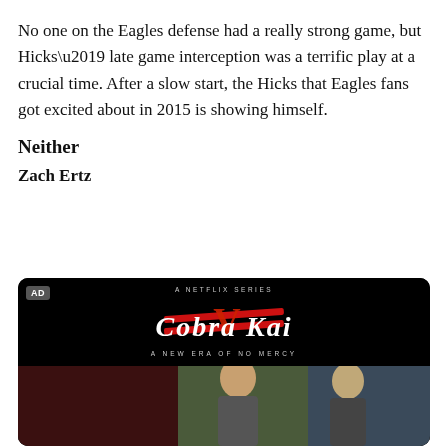No one on the Eagles defense had a really strong game, but Hicks’ late game interception was a terrific play at a crucial time. After a slow start, the Hicks that Eagles fans got excited about in 2015 is showing himself.
Neither
Zach Ertz
[Figure (photo): Advertisement for Netflix series 'Cobra Kai' — A New Era of No Mercy. Shows the Cobra Kai logo on a black background with two actors below and the Netflix logo.]